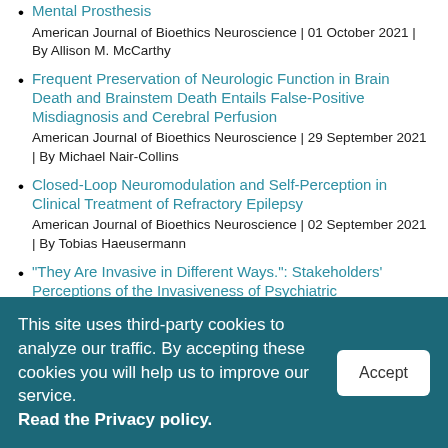Mental Prosthesis
American Journal of Bioethics Neuroscience | 01 October 2021 | By Allison M. McCarthy
Frequent Preservation of Neurologic Function in Brain Death and Brainstem Death Entails False-Positive Misdiagnosis and Cerebral Perfusion
American Journal of Bioethics Neuroscience | 29 September 2021 | By Michael Nair-Collins
Closed-Loop Neuromodulation and Self-Perception in Clinical Treatment of Refractory Epilepsy
American Journal of Bioethics Neuroscience | 02 September 2021 | By Tobias Haeusermann
“They Are Invasive in Different Ways.”: Stakeholders’ Perceptions of the Invasiveness of Psychiatric Electroceutical
This site uses third-party cookies to analyze our traffic. By accepting these cookies you will help us to improve our service. Read the Privacy policy.